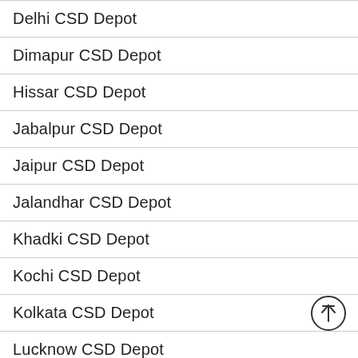Delhi CSD Depot
Dimapur CSD Depot
Hissar CSD Depot
Jabalpur CSD Depot
Jaipur CSD Depot
Jalandhar CSD Depot
Khadki CSD Depot
Kochi CSD Depot
Kolkata CSD Depot
Lucknow CSD Depot